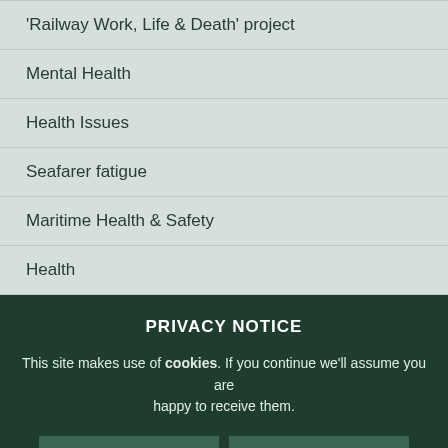'Railway Work, Life & Death' project
Mental Health
Health Issues
Seafarer fatigue
Maritime Health & Safety
Health
PRIVACY NOTICE
This site makes use of cookies. If you continue we'll assume you are happy to receive them.
Continue | Read our cookie policy